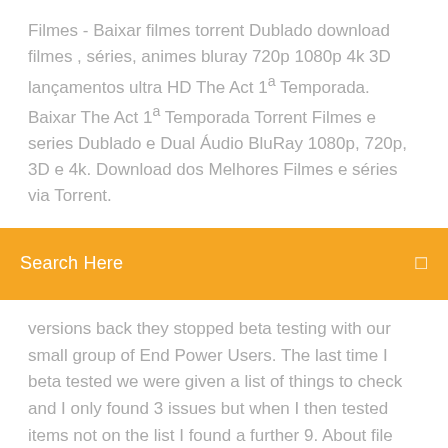Filmes - Baixar filmes torrent Dublado download filmes , séries, animes bluray 720p 1080p 4k 3D lançamentos ultra HD The Act 1ª Temporada. Baixar The Act 1ª Temporada Torrent Filmes e series Dublado e Dual Áudio BluRay 1080p, 720p, 3D e 4k. Download dos Melhores Filmes e séries via Torrent.
Search Here
versions back they stopped beta testing with our small group of End Power Users. The last time I beta tested we were given a list of things to check and I only found 3 issues but when I then tested items not on the list I found a further 9. About file types supported by ACT. File.org aims to be the go-to resource for file type- and related software information. We spend countless hours researching various file formats and software that can open, convert, create or otherwise work with those files. Assistir The Act 1x1 em HD Online. Get a taste of the ACT ® test with